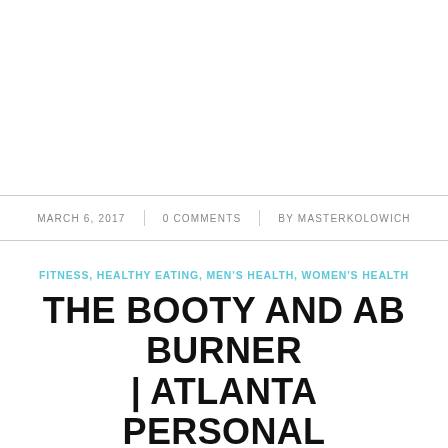MARCH 6, 2017 | 0 COMMENTS | BY MASTERKOLOWICH
FITNESS, HEALTHY EATING, MEN'S HEALTH, WOMEN'S HEALTH
THE BOOTY AND AB BURNER | ATLANTA PERSONAL TRAINER